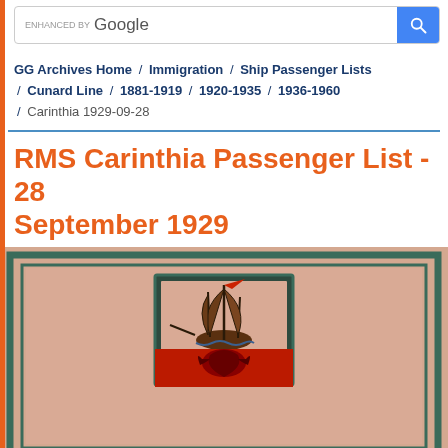[Figure (screenshot): Google search bar with 'ENHANCED BY Google' text and blue search button]
GG Archives Home / Immigration / Ship Passenger Lists / Cunard Line / 1881-1919 / 1920-1935 / 1936-1960 / Carinthia 1929-09-28
RMS Carinthia Passenger List - 28 September 1929
[Figure (illustration): Cover art of a passenger list featuring a sailing ship with red flag at top, mounted on a decorative plaque with dark border, set against a salmon/pink parchment-textured background with teal border frame. The lower portion shows a red panel with a dark eagle or lion heraldic motif.]